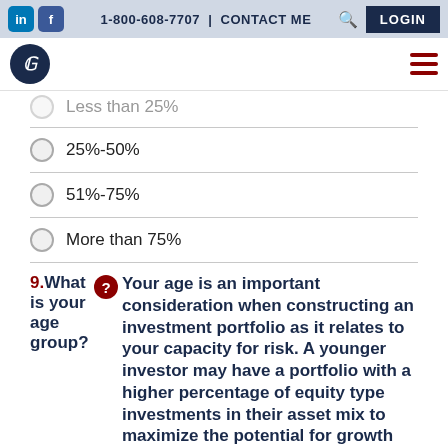in | f | 1-800-608-7707 | CONTACT ME | LOGIN
Less than 25%
25%-50%
51%-75%
More than 75%
9. What is your age group? Your age is an important consideration when constructing an investment portfolio as it relates to your capacity for risk. A younger investor may have a portfolio with a higher percentage of equity type investments in their asset mix to maximize the potential for growth with the understanding that should their portfolio drop in